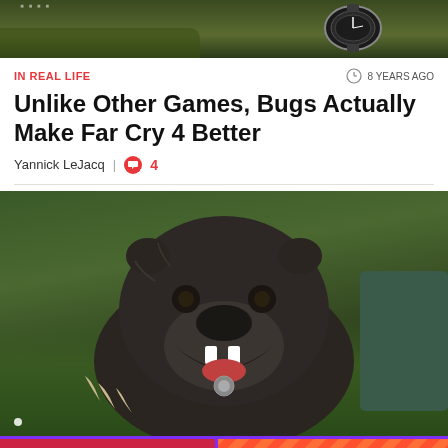[Figure (screenshot): Top portion of a gaming screenshot showing greenery and a wristwatch in the upper right]
IN REAL LIFE
8 YEARS AGO
Unlike Other Games, Bugs Actually Make Far Cry 4 Better
Yannick LeJacq | 4
[Figure (screenshot): Close-up screenshot of a growling bear-like animal from Far Cry 4 game, facing the camera with open mouth and claws visible, on a green grassy background]
[Figure (other): Kotaku advertisement banner with pink/red background showing Kotaku logo on left and CLICK HERE button on right with diagonal stripe pattern]